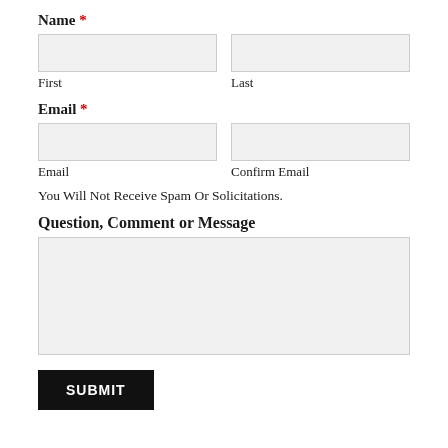Name *
[Figure (other): Two input fields side by side for First and Last name]
First
Last
Email *
[Figure (other): Two input fields side by side for Email and Confirm Email]
Email
Confirm Email
You Will Not Receive Spam Or Solicitations.
Question, Comment or Message
[Figure (other): Large textarea for message input]
SUBMIT